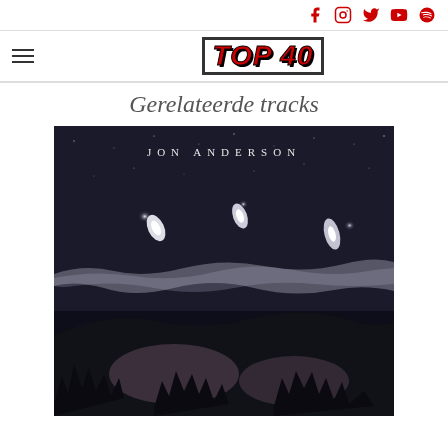Social icons: Facebook, Instagram, Twitter, YouTube, Spotify
[Figure (logo): TOP 40 logo in red italic bold text with black border]
Gerelateerde tracks
[Figure (photo): Jon Anderson album cover art — dark night sky with comets/shooting stars and silhouetted landscape with plants in foreground. Text reads JON ANDERSON at top.]